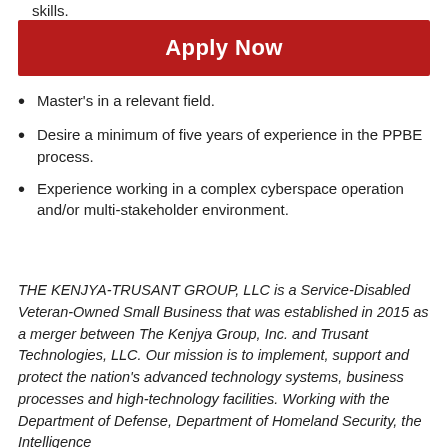skills.
Apply Now
Master's in a relevant field.
Desire a minimum of five years of experience in the PPBE process.
Experience working in a complex cyberspace operation and/or multi-stakeholder environment.
THE KENJYA-TRUSANT GROUP, LLC is a Service-Disabled Veteran-Owned Small Business that was established in 2015 as a merger between The Kenjya Group, Inc. and Trusant Technologies, LLC. Our mission is to implement, support and protect the nation's advanced technology systems, business processes and high-technology facilities. Working with the Department of Defense, Department of Homeland Security, the Intelligence